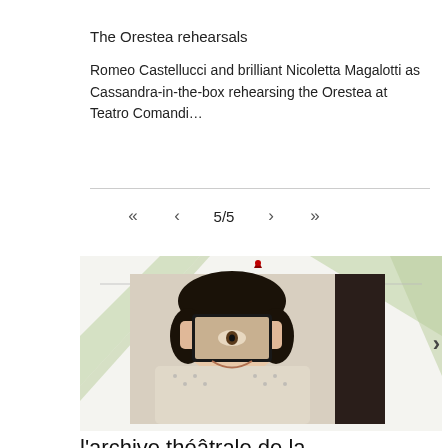The Orestea rehearsals
Romeo Castellucci and brilliant Nicoletta Magalotti as Cassandra-in-the-box rehearsing the Orestea at Teatro Comandi...
[Figure (photo): A woman holding a smartphone up to her face, covering her eyes with the phone, wearing a knitted sweater. Background is a gallery/theater space with light green decorative elements.]
l'archive théâtrale de la